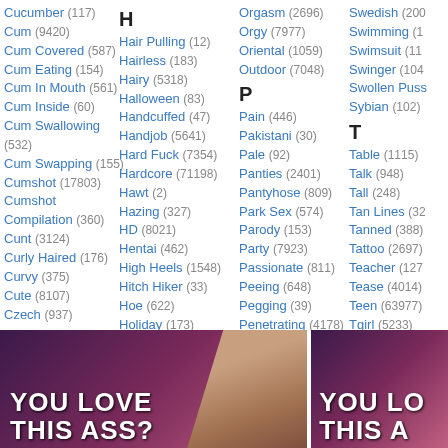Cucumber (117)
Cum (9420)
Cum Covered (587)
Cum Eating (154)
Cum In Mouth (561)
Cum Inside (60)
Cum Swallowing (532)
Cum Swapping (155)
Cumshot (17803)
Cumshot Compilation (360)
Cunt (3124)
Curly Haired (176)
Curvy (375)
Cute (8107)
Czech (937)
D
Dance (2750)
Danish (218)
Dare (115)
Dark Hair (75)
H
Hair Pulling (12)
Hairless (183)
Hairy (5318)
Halloween (83)
Handcuffed (47)
Handjob (5641)
Hard Fuck (7354)
Hardcore (71198)
Hawt (2)
Hazing (327)
HD (8021)
Hentai (462)
High Heels (1548)
Hitch Hiker (33)
Hoe (622)
Holiday (173)
Home (2634)
Home Made (5561)
Hooker (523)
Hooters (130)
Orgasm (2696)
Orgy (7977)
Oriental (1059)
Outdoor (7048)
P
Pain (446)
Pakistani (30)
Pale (92)
Panties (2401)
Pantyhose (809)
Park Sex (574)
Parody (153)
Party (7923)
Passionate (811)
Peeing (648)
Pegging (39)
Penetrating (4178)
Penis (913)
Perfect (3248)
Swedish (200+)
Swimming (1...)
Swimsuit (11...)
Swinger (104...)
Swollen Puss...
Sybian (102)
T
Table (1115)
Talk (948)
Tall (248)
Tan Lines (32...)
Tanned (388)
Tattoo (2697)
Teacher (127...)
Tease (4014)
Teen (63977)
Tgirl (5233)
Thai (369)
Thong (229)
Threesome (...)
[Figure (photo): Two advertisement banners with purple/pink gradient background and bold white text reading YOU LOVE THIS ASS?]